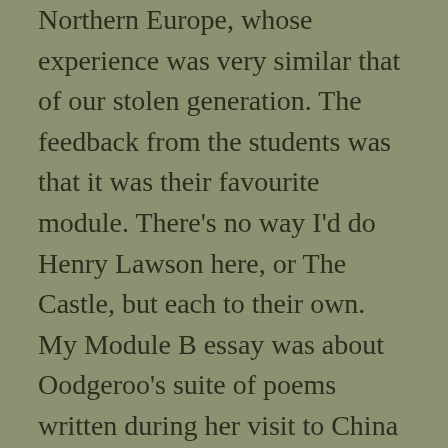Northern Europe, whose experience was very similar that of our stolen generation. The feedback from the students was that it was their favourite module. There’s no way I’d do Henry Lawson here, or The Castle, but each to their own. My Module B essay was about Oodgeroo’s suite of poems written during her visit to China as part of a delegation in 1984. I started an introduction and ended up crossing it out and starting again, to better address the question. I felt I rambled and it was a hard question because it asked ‘to what extent’; the kind of